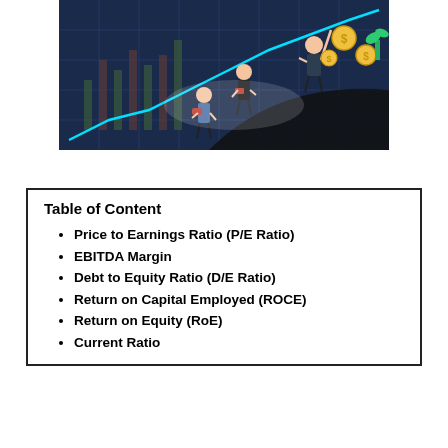[Figure (illustration): Financial illustration showing three business people climbing upward along a rising chart/graph line, with stock market candlestick charts in the background, gold coins with dollar signs, and a plant growing from coins. Dark blue background with colorful cartoon-style figures.]
Price to Earnings Ratio (P/E Ratio)
EBITDA Margin
Debt to Equity Ratio (D/E Ratio)
Return on Capital Employed (ROCE)
Return on Equity (RoE)
Current Ratio